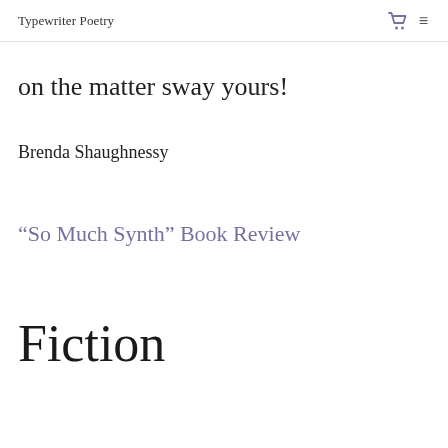Typewriter Poetry
on the matter sway yours!
Brenda Shaughnessy
“So Much Synth” Book Review
Fiction